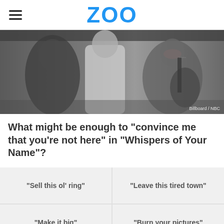ZOO
[Figure (photo): Grayscale photo of musicians playing guitar and other instruments, with credit 'Billboard / NBC' in bottom right corner.]
What might be enough to "convince me that you're not here" in "Whispers of Your Name"?
"Sell this ol' ring"
"Leave this tired town"
"Make it big"
"Burn your pictures"